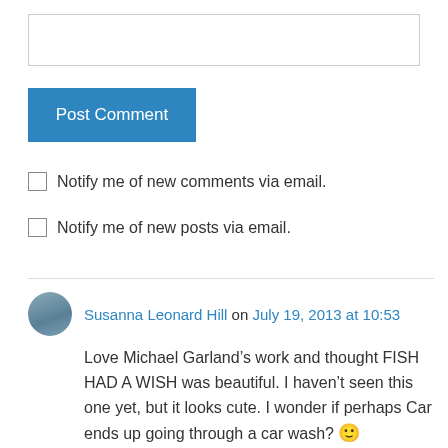[Figure (other): Text input box (comment form field)]
Post Comment
Notify me of new comments via email.
Notify me of new posts via email.
Susanna Leonard Hill on July 19, 2013 at 10:53
Love Michael Garland’s work and thought FISH HAD A WISH was beautiful. I haven’t seen this one yet, but it looks cute. I wonder if perhaps Car ends up going through a car wash? 🙂
Like